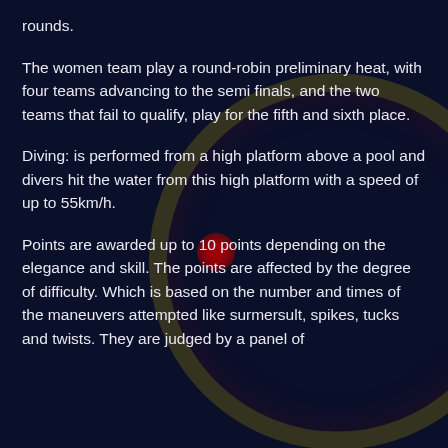rounds.
The women team play a round-robin preliminary heat, with four teams advancing to the semi finals, and the two teams that fail to qualify, play for the fifth and sixth place.
Diving: is performed from a high platform above a pool and divers hit the water from this high platform with a speed of up to 55km/h.
Points are awarded up to 10 points depending on the elegance and skill. The points are affected by the degree of difficulty. Which is based on the number and times of the maneuvers attempted like surmersult, spikes, tucks and twists. They are judged by a panel of